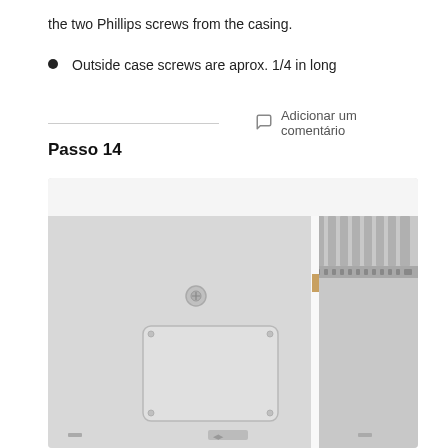the two Phillips screws from the casing.
Outside case screws are aprox. 1/4 in long
Adicionar um comentário
Passo 14
[Figure (photo): Interior view of a laptop/device casing showing the bottom panel with a trackpad cutout area, a circular component (screw or button), and a metal bracket/hinge assembly with connectors along the right side.]